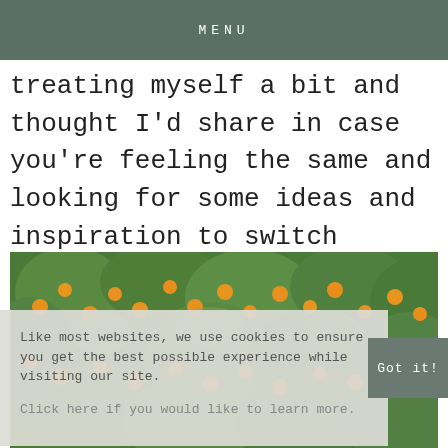MENU
treating myself a bit and thought I'd share in case you're feeling the same and looking for some ideas and inspiration to switch things up!
[Figure (photo): Close-up photo of a tree with green foliage and orange fruits (likely tangerines or kumquats)]
Like most websites, we use cookies to ensure you get the best possible experience while visiting our site.
Click here if you would like to learn more.